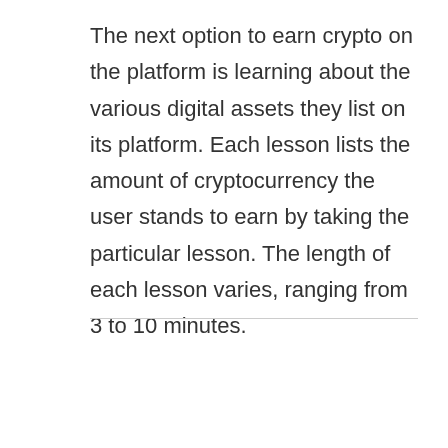The next option to earn crypto on the platform is learning about the various digital assets they list on its platform. Each lesson lists the amount of cryptocurrency the user stands to earn by taking the particular lesson. The length of each lesson varies, ranging from 3 to 10 minutes.